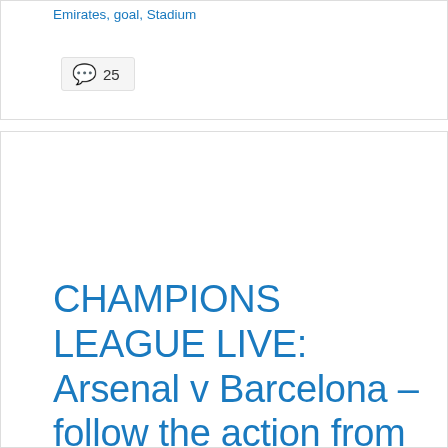Emirates, goal, Stadium
25
CHAMPIONS LEAGUE LIVE: Arsenal v Barcelona – follow the action from the Emirates Stadium as it happens
Posted on February 21, 2011 by admin
CHAMPIONS LEAGUE Reside: Arsenal v Barcelona – comply with the motion from the Emirates